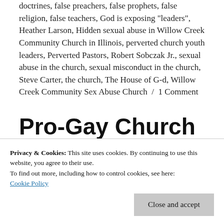doctrines, false preachers, false prophets, false religion, false teachers, God is exposing "leaders", Heather Larson, Hidden sexual abuse in Willow Creek Community Church in Illinois, perverted church youth leaders, Perverted Pastors, Robert Sobczak Jr., sexual abuse in the church, sexual misconduct in the church, Steve Carter, the church, The House of G-d, Willow Creek Community Sex Abuse Church / 1 Comment
Pro-Gay Church Plans to Build Worship Space/Brewery & Donate
you can't drink alcohol in a responsible
Privacy & Cookies: This site uses cookies. By continuing to use this website, you agree to their use.
To find out more, including how to control cookies, see here: Cookie Policy